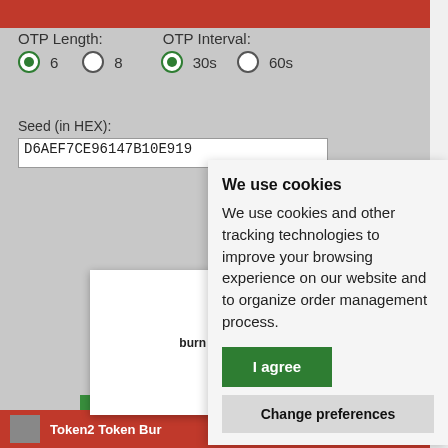[Figure (screenshot): Mobile app screenshot showing OTP Token Burner interface with OTP Length (6 selected), OTP Interval (30s selected), Seed input field with value D6AEF7CE96147B10E919, burn seed button, scan QR code button, get token info button, and a 'burn process succeeded' alert popup]
burn process succeeded
We use cookies
We use cookies and other tracking technologies to improve your browsing experience on our website and to organize order management process.
I agree
Change preferences